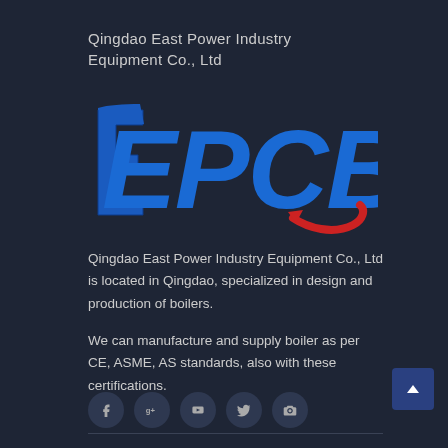Qingdao East Power Industry Equipment Co., Ltd
[Figure (logo): EPCB logo in blue bold letters with a red swoosh element under the B]
Qingdao East Power Industry Equipment Co., Ltd is located in Qingdao, specialized in design and production of boilers.
We can manufacture and supply boiler as per CE, ASME, AS standards, also with these certifications.
[Figure (infographic): Row of 5 social media icon circles: Facebook (f), Google+ (g+), YouTube, Twitter, Camera/Instagram]